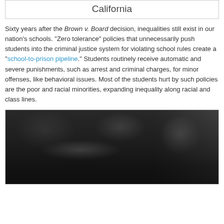California
Sixty years after the Brown v. Board decision, inequalities still exist in our nation’s schools. “Zero tolerance” policies that unnecessarily push students into the criminal justice system for violating school rules create a “school-to-prison pipeline.” Students routinely receive automatic and severe punishments, such as arrest and criminal charges, for minor offenses, like behavioral issues. Most of the students hurt by such policies are the poor and racial minorities, expanding inequality along racial and class lines.
[Figure (photo): Black and white historical photograph showing people at what appears to be a lunch counter or cafeteria, with a mural visible in the background.]